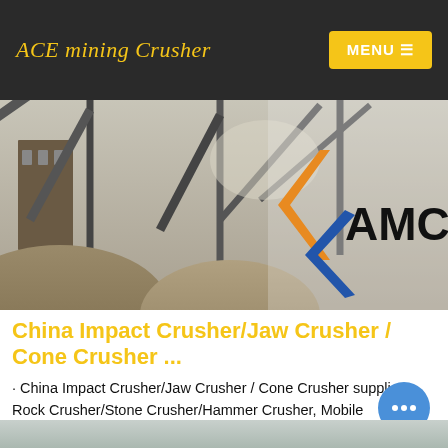ACE mining Crusher
[Figure (photo): Mining crusher facility with conveyor belts, gravel piles, and metal structures. AMC logo (orange and blue angular chevron design) visible on right side of hero image.]
China Impact Crusher/Jaw Crusher / Cone Crusher ...
· China Impact Crusher/Jaw Crusher / Cone Crusher supplier, Rock Crusher/Stone Crusher/Hammer Crusher, Mobile Crusher/Mobile Jaw Crusher Manufacturers/Suppliers - Shibang Industry & Technology Group Co., Ltd.
Contact us
[Figure (photo): Bottom strip showing a partial view of a mining/quarry landscape with pale gray stone piles.]